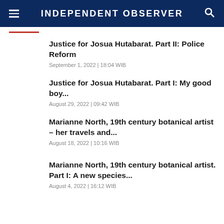INDEPENDENT OBSERVER
Justice for Josua Hutabarat. Part II: Police Reform
September 1, 2022 | 18:04 WIB
Justice for Josua Hutabarat. Part I: My good boy...
August 29, 2022 | 09:42 WIB
Marianne North, 19th century botanical artist – her travels and...
August 18, 2022 | 10:16 WIB
Marianne North, 19th century botanical artist. Part I: A new species...
August 4, 2022 | 16:12 WIB